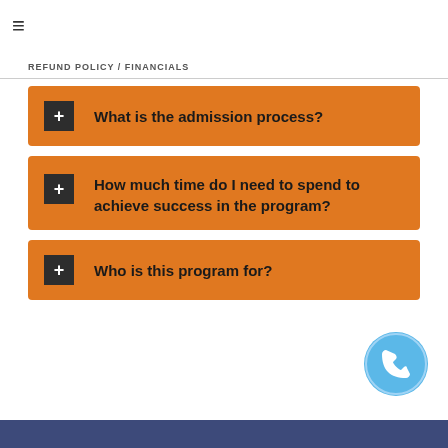REFUND POLICY / FINANCIALS
What is the admission process?
How much time do I need to spend to achieve success in the program?
Who is this program for?
[Figure (illustration): Blue circular phone/call button with white telephone handset icon]